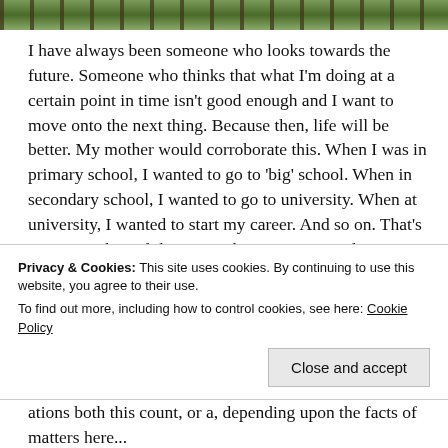[Figure (photo): Railway tracks with green foliage, partial view at the top of the page]
I have always been someone who looks towards the future. Someone who thinks that what I'm doing at a certain point in time isn't good enough and I want to move onto the next thing. Because then, life will be better. My mother would corroborate this. When I was in primary school, I wanted to go to 'big' school. When in secondary school, I wanted to go to university. When at university, I wanted to start my career. And so on. That's not to say that I didn't enjoy the times I spent doing any of those things, but it meant that I wasn't always living in the present. I was always looking towards the next step. This isn't always helped by circumstances. For example, I studied Law at university and you have to start applying for training
Privacy & Cookies: This site uses cookies. By continuing to use this website, you agree to their use.
To find out more, including how to control cookies, see here: Cookie Policy
Close and accept
ations...